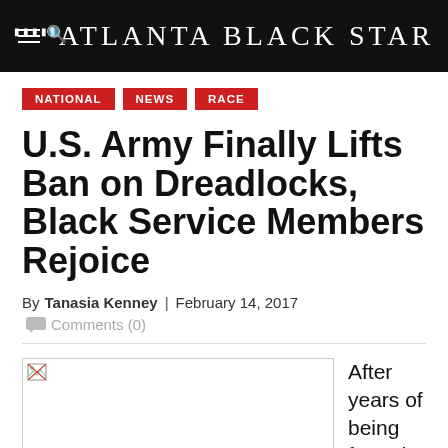Atlanta Black Star
NATIONAL
NEWS
RACE
U.S. Army Finally Lifts Ban on Dreadlocks, Black Service Members Rejoice
By Tanasia Kenney | February 14, 2017 Comments (0)
[Figure (photo): Broken/unloaded image placeholder]
After years of being forced to chose between their hair and staying within